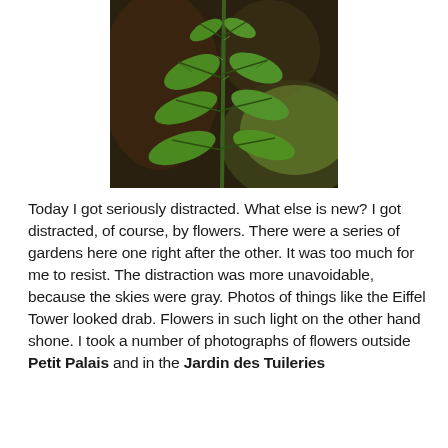[Figure (photo): Close-up photograph of a green plant stem with small green leaves against a dark brown/green blurred background.]
Today I got seriously distracted. What else is new? I got distracted, of course, by flowers. There were a series of gardens here one right after the other. It was too much for me to resist. The distraction was more unavoidable, because the skies were gray. Photos of things like the Eiffel Tower looked drab. Flowers in such light on the other hand shone. I took a number of photographs of flowers outside Petit Palais and in the Jardin des Tuileries